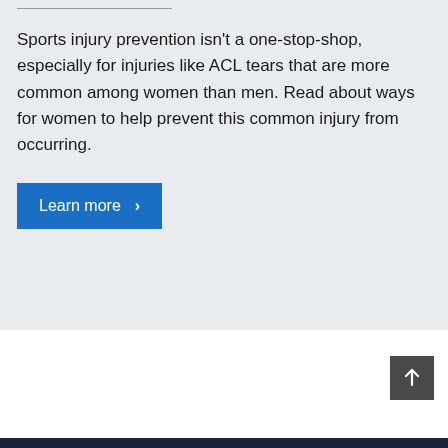Sports injury prevention isn't a one-stop-shop, especially for injuries like ACL tears that are more common among women than men. Read about ways for women to help prevent this common injury from occurring.
Learn more